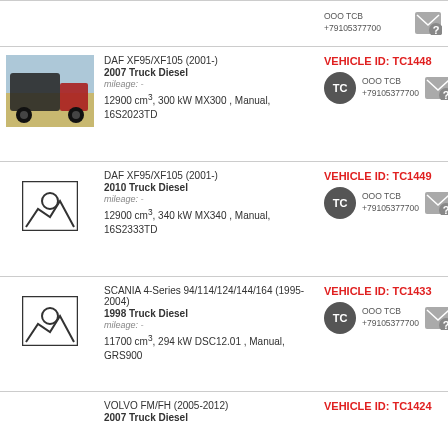OOO TCB +79105377700
DAF XF95/XF105 (2001-) 2007 Truck Diesel mileage: - 12900 cm³, 300 kW MX300, Manual, 16S2023TD VEHICLE ID: TC1448 OOO TCB +79105377700
DAF XF95/XF105 (2001-) 2010 Truck Diesel mileage: - 12900 cm³, 340 kW MX340, Manual, 16S2333TD VEHICLE ID: TC1449 OOO TCB +79105377700
SCANIA 4-Series 94/114/124/144/164 (1995-2004) 1998 Truck Diesel mileage: - 11700 cm³, 294 kW DSC12.01, Manual, GRS900 VEHICLE ID: TC1433 OOO TCB +79105377700
VOLVO FM/FH (2005-2012) 2007 Truck Diesel VEHICLE ID: TC1424